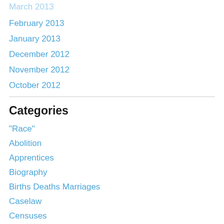March 2013
February 2013
January 2013
December 2012
November 2012
October 2012
Categories
"Race"
Abolition
Apprentices
Biography
Births Deaths Marriages
Caselaw
Censuses
Civil War
Correspondence
Court Actions
Crime